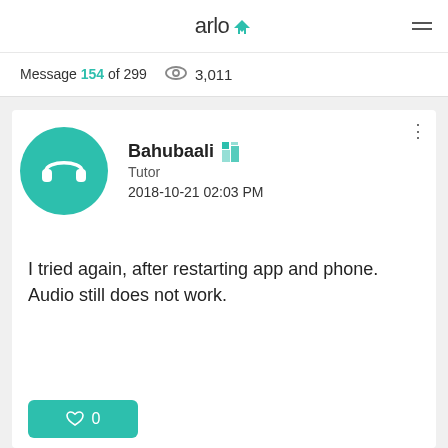arlo
Message 154 of 299  👁 3,011
[Figure (illustration): Teal circular avatar with white headphones icon representing user Bahubaali]
Bahubaali
Tutor
2018-10-21 02:03 PM
I tried again, after restarting app and phone. Audio still does not work.
♡  0